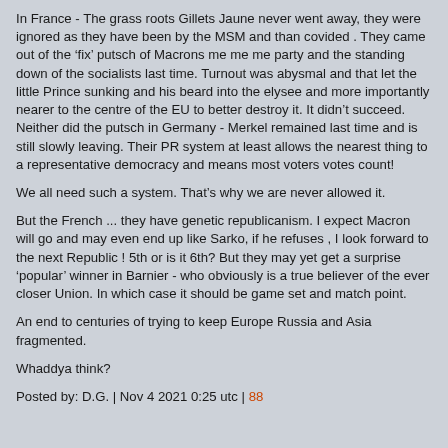In France - The grass roots Gillets Jaune never went away, they were ignored as they have been by the MSM and than covided . They came out of the 'fix' putsch of Macrons me me me party and the standing down of the socialists last time. Turnout was abysmal and that let the little Prince sunking and his beard into the elysee and more importantly nearer to the centre of the EU to better destroy it. It didn't succeed. Neither did the putsch in Germany - Merkel remained last time and is still slowly leaving. Their PR system at least allows the nearest thing to a representative democracy and means most voters votes count!
We all need such a system. That's why we are never allowed it.
But the French ... they have genetic republicanism. I expect Macron will go and may even end up like Sarko, if he refuses , I look forward to the next Republic ! 5th or is it 6th? But they may yet get a surprise ‘popular’ winner in Barnier - who obviously is a true believer of the ever closer Union. In which case it should be game set and match point.
An end to centuries of trying to keep Europe Russia and Asia fragmented.
Whaddya think?
Posted by: D.G. | Nov 4 2021 0:25 utc | 88